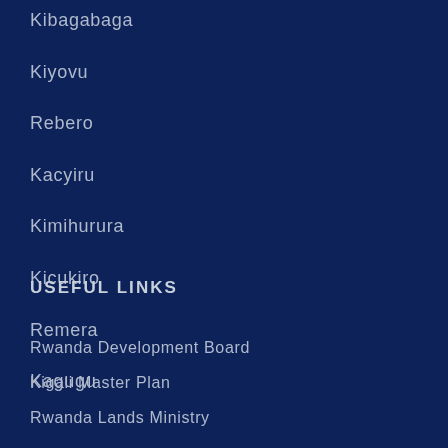Kibagabaga
Kiyovu
Rebero
Kacyiru
Kimihurura
Kicukiro
Remera
Kagugu
USEFUL LINKS
Rwanda Development Board
Kigali Master Plan
Rwanda Lands Ministry